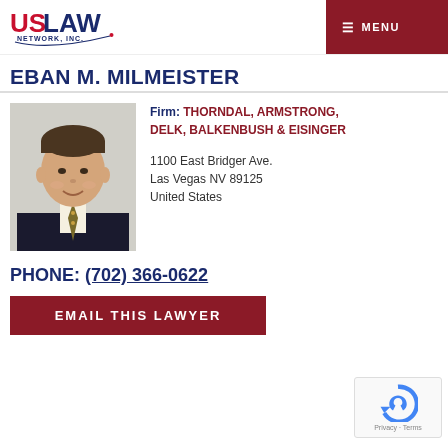[Figure (logo): US LAW NETWORK, INC. logo with red and blue text and a swoosh graphic]
EBAN M. MILMEISTER
[Figure (photo): Professional headshot of attorney Eban M. Milmeister in a dark suit with patterned tie]
Firm: THORNDAL, ARMSTRONG, DELK, BALKENBUSH & EISINGER
1100 East Bridger Ave.
Las Vegas NV 89125
United States
PHONE: (702) 366-0622
EMAIL THIS LAWYER